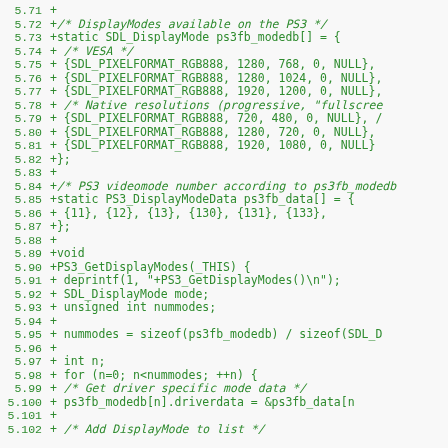[Figure (screenshot): Source code diff showing C code for PS3 display modes initialization. Green monospace text on light gray background with line numbers from 5.71 to 5.102.]